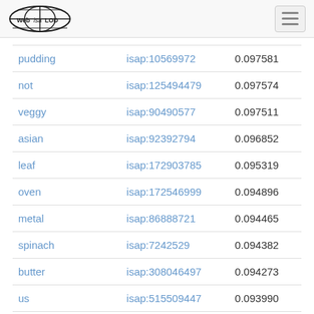Web isa LOD
| pudding | isap:10569972 | 0.097581 |
| not | isap:125494479 | 0.097574 |
| veggy | isap:90490577 | 0.097511 |
| asian | isap:92392794 | 0.096852 |
| leaf | isap:172903785 | 0.095319 |
| oven | isap:172546999 | 0.094896 |
| metal | isap:86888721 | 0.094465 |
| spinach | isap:7242529 | 0.094382 |
| butter | isap:308046497 | 0.094273 |
| us | isap:515509447 | 0.093990 |
| onion | isap:??? | 0.093849 |